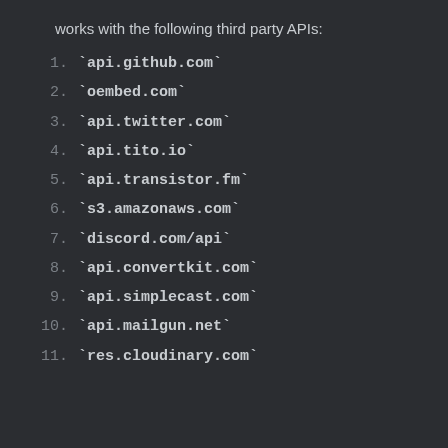works with the following third party APIs:
`api.github.com`
`oembed.com`
`api.twitter.com`
`api.tito.io`
`api.transistor.fm`
`s3.amazonaws.com`
`discord.com/api`
`api.convertkit.com`
`api.simplecast.com`
`api.mailgun.net`
`res.cloudinary.com`